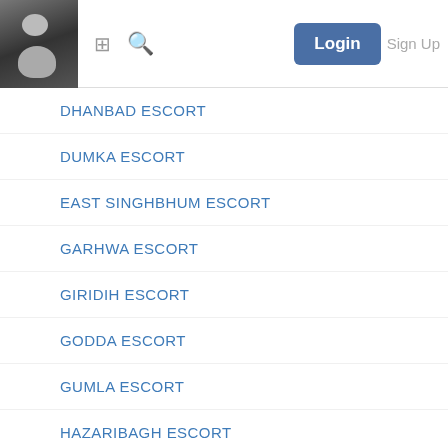Login  Sign Up
DHANBAD ESCORT
DUMKA ESCORT
EAST SINGHBHUM ESCORT
GARHWA ESCORT
GIRIDIH ESCORT
GODDA ESCORT
GUMLA ESCORT
HAZARIBAGH ESCORT